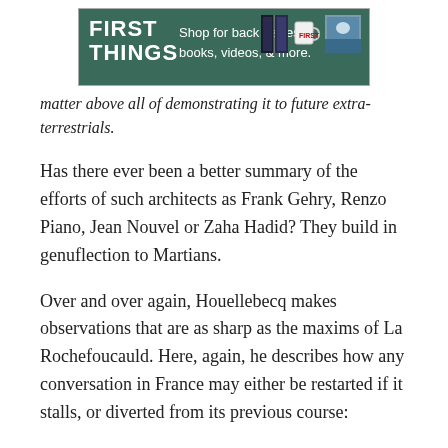[Figure (other): First Things advertisement banner: green background with 'FIRST THINGS' logo in white bold text, 'Shop for back issues, books, videos, & more.' text, and images of books, a mug, and a photo.]
matter above all of demonstrating it to future extra-terrestrials.
Has there ever been a better summary of the efforts of such architects as Frank Gehry, Renzo Piano, Jean Nouvel or Zaha Hadid? They build in genuflection to Martians.
Over and over again, Houellebecq makes observations that are as sharp as the maxims of La Rochefoucauld. Here, again, he describes how any conversation in France may either be restarted if it stalls, or diverted from its previous course: